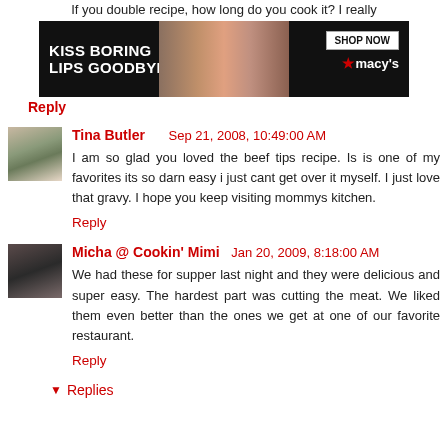If you double recipe, how long do you cook it? I really
[Figure (photo): Macy's advertisement banner: 'KISS BORING LIPS GOODBYE' with SHOP NOW button and Macy's star logo, featuring a woman with red lips]
Reply
Tina Butler   Sep 21, 2008, 10:49:00 AM
I am so glad you loved the beef tips recipe. Is is one of my favorites its so darn easy i just cant get over it myself. I just love that gravy. I hope you keep visiting mommys kitchen.
Reply
Micha @ Cookin' Mimi   Jan 20, 2009, 8:18:00 AM
We had these for supper last night and they were delicious and super easy. The hardest part was cutting the meat. We liked them even better than the ones we get at one of our favorite restaurant.
Reply
Replies